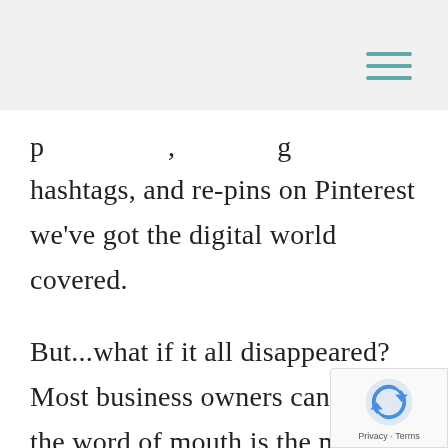p , g hashtags, and re-pins on Pinterest we've got the digital world covered.
But...what if it all disappeared? Most business owners can agree the word of mouth is the most effective form of marketing! Having someone who loves what you offer promote you to his or h